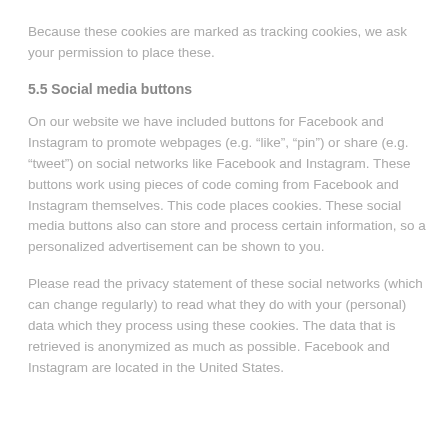Because these cookies are marked as tracking cookies, we ask your permission to place these.
5.5 Social media buttons
On our website we have included buttons for Facebook and Instagram to promote webpages (e.g. “like”, “pin”) or share (e.g. “tweet”) on social networks like Facebook and Instagram. These buttons work using pieces of code coming from Facebook and Instagram themselves. This code places cookies. These social media buttons also can store and process certain information, so a personalized advertisement can be shown to you.
Please read the privacy statement of these social networks (which can change regularly) to read what they do with your (personal) data which they process using these cookies. The data that is retrieved is anonymized as much as possible. Facebook and Instagram are located in the United States.